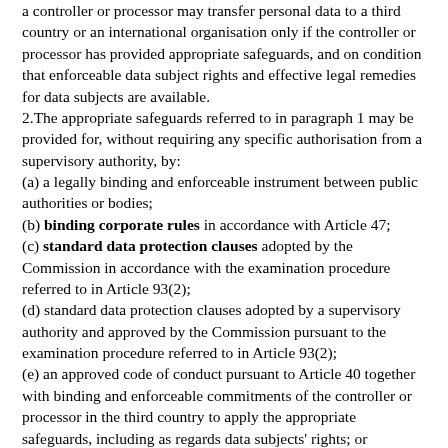a controller or processor may transfer personal data to a third country or an international organisation only if the controller or processor has provided appropriate safeguards, and on condition that enforceable data subject rights and effective legal remedies for data subjects are available.
2.The appropriate safeguards referred to in paragraph 1 may be provided for, without requiring any specific authorisation from a supervisory authority, by:
(a) a legally binding and enforceable instrument between public authorities or bodies;
(b) binding corporate rules in accordance with Article 47;
(c) standard data protection clauses adopted by the Commission in accordance with the examination procedure referred to in Article 93(2);
(d) standard data protection clauses adopted by a supervisory authority and approved by the Commission pursuant to the examination procedure referred to in Article 93(2);
(e) an approved code of conduct pursuant to Article 40 together with binding and enforceable commitments of the controller or processor in the third country to apply the appropriate safeguards, including as regards data subjects' rights; or